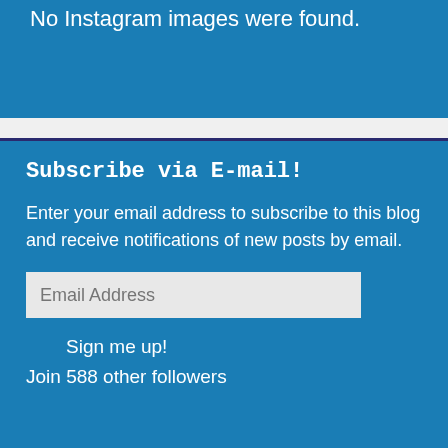No Instagram images were found.
Subscribe via E-mail!
Enter your email address to subscribe to this blog and receive notifications of new posts by email.
Email Address
Sign me up!
Join 588 other followers